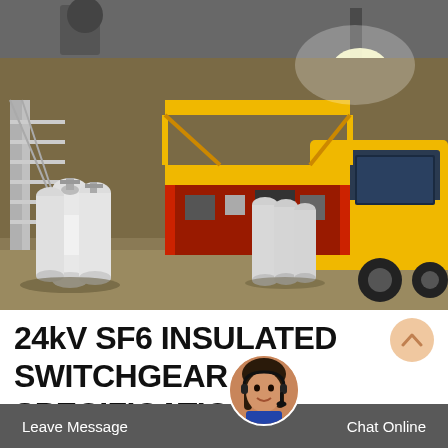[Figure (photo): Industrial warehouse interior showing multiple white gas cylinders (SF6 or similar) standing upright on the left side and right side, a yellow truck/vehicle in the background right, red and yellow specialized equipment/service vehicle in the center, metal staircases on the left, and bright overhead lighting. The setting appears to be an indoor facility used for SF6 gas handling.]
24kV SF6 INSULATED SWITCHGEAR SPECIFICATION